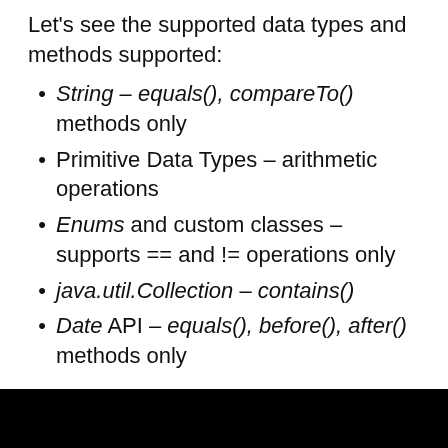Let's see the supported data types and methods supported:
String – equals(), compareTo() methods only
Primitive Data Types – arithmetic operations
Enums and custom classes – supports == and != operations only
java.util.Collection – contains()
Date API – equals(), before(), after() methods only
[Figure (screenshot): Black video player area with a white play button triangle in the center]